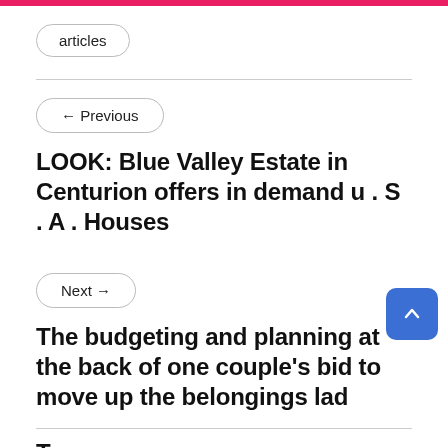articles
← Previous
LOOK: Blue Valley Estate in Centurion offers in demand u . S . A . Houses
Next →
The budgeting and planning at the back of one couple's bid to move up the belongings lad
Ta...